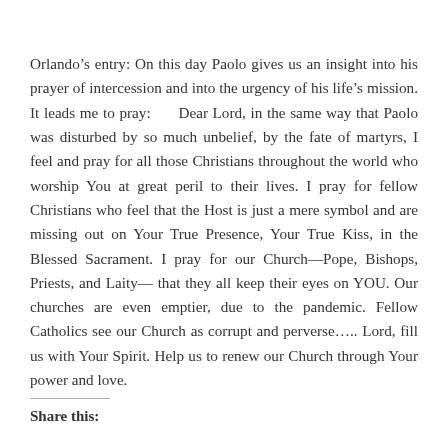Orlando's entry: On this day Paolo gives us an insight into his prayer of intercession and into the urgency of his life's mission. It leads me to pray:     Dear Lord, in the same way that Paolo was disturbed by so much unbelief, by the fate of martyrs, I feel and pray for all those Christians throughout the world who worship You at great peril to their lives. I pray for fellow Christians who feel that the Host is just a mere symbol and are missing out on Your True Presence, Your True Kiss, in the Blessed Sacrament. I pray for our Church—Pope, Bishops, Priests, and Laity— that they all keep their eyes on YOU. Our churches are even emptier, due to the pandemic. Fellow Catholics see our Church as corrupt and perverse..... Lord, fill us with Your Spirit. Help us to renew our Church through Your power and love.
Share this: